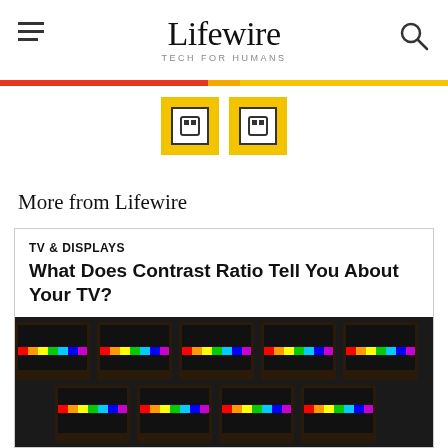Lifewire TECH FOR HUMANS
[Figure (screenshot): Two yellow-bordered navigation icon boxes]
More from Lifewire
TV & DISPLAYS
What Does Contrast Ratio Tell You About Your TV?
[Figure (photo): Grid of multiple old CRT television sets displaying color bar test patterns]